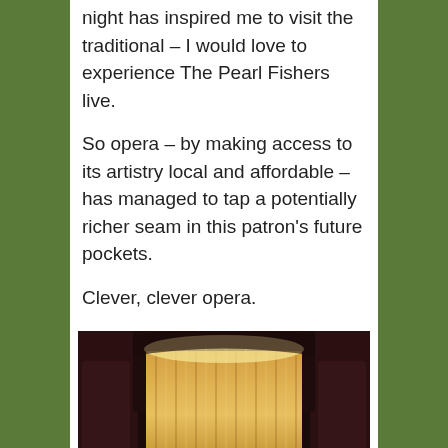night has inspired me to visit the traditional – I would love to experience The Pearl Fishers live.
So opera – by making access to its artistry local and affordable – has managed to tap a potentially richer seam in this patron's future pockets.
Clever, clever opera.
[Figure (photo): Interior photograph of a theater showing an illuminated stage curtain — golden/cream pleated curtain lit from above, with ornate dark walls and architectural details on either side. The image is partially cut off at the bottom.]